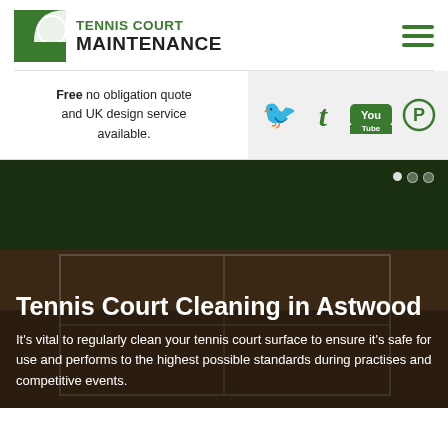[Figure (logo): Tennis Court Maintenance logo: green square icon with white curved shape, text 'TENNIS COURT MAINTENANCE' in green and black]
[Figure (infographic): Hamburger menu icon — three green horizontal bars]
Free no obligation quote and UK design service available.
[Figure (infographic): Social media icons: Twitter, Tumblr, YouTube, Pinterest — all in green on grey background]
Tennis Court Cleaning in Astwood
It's vital to regularly clean your tennis court surface to ensure it's safe for use and performs to the highest possible standards during practises and competitive events.